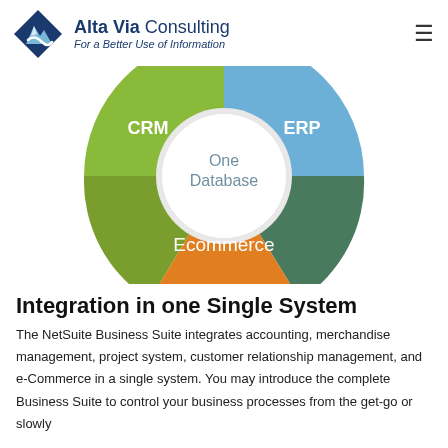Alta Via Consulting — For a Better Use of Information
[Figure (infographic): Half-donut/pie chart showing NetSuite integration: CRM (green), ERP (blue), Ecommerce (orange/brown), with 'One Database' in the center circle. Only the bottom half of the donut is visible.]
Integration in one Single System
The NetSuite Business Suite integrates accounting, merchandise management, project system, customer relationship management, and e-Commerce in a single system. You may introduce the complete Business Suite to control your business processes from the get-go or slowly